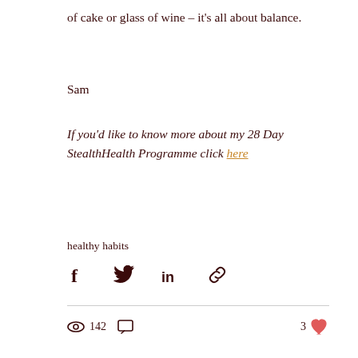of cake or glass of wine – it's all about balance.
Sam
If you'd like to know more about my 28 Day StealthHealth Programme click here
healthy habits
[Figure (infographic): Social share icons: Facebook, Twitter, LinkedIn, Link]
142  (comment icon)  3 (heart)